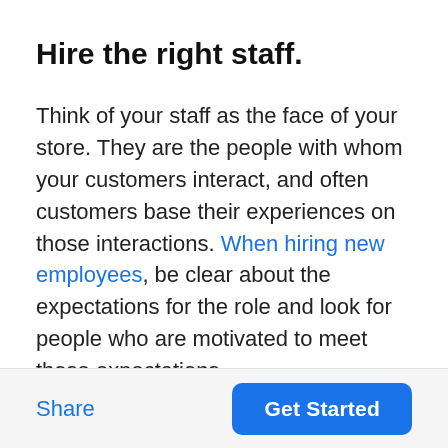Hire the right staff.
Think of your staff as the face of your store. They are the people with whom your customers interact, and often customers base their experiences on those interactions. When hiring new employees, be clear about the expectations for the role and look for people who are motivated to meet those expectations.
Share  Get Started